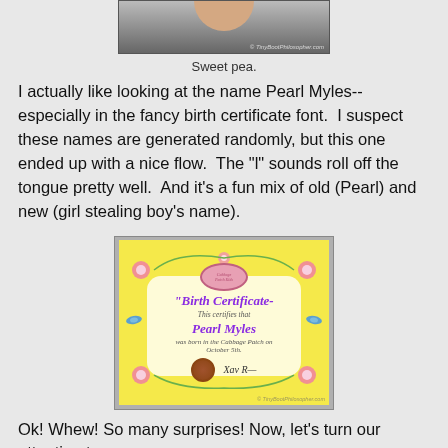[Figure (photo): Partial photo of a hand holding something, cropped at top of page]
Sweet pea.
I actually like looking at the name Pearl Myles--especially in the fancy birth certificate font.  I suspect these names are generated randomly, but this one ended up with a nice flow.  The "l" sounds roll off the tongue pretty well.  And it's a fun mix of old (Pearl) and new (girl stealing boy's name).
[Figure (photo): Cabbage Patch Kids birth certificate for Pearl Myles, yellow background with pink flowers, green vines, blue birds, stating 'This certifies that Pearl Myles was born in the Cabbage Patch on October 5th.']
Ok!  Whew!  So many surprises!  Now, let's turn our attention to